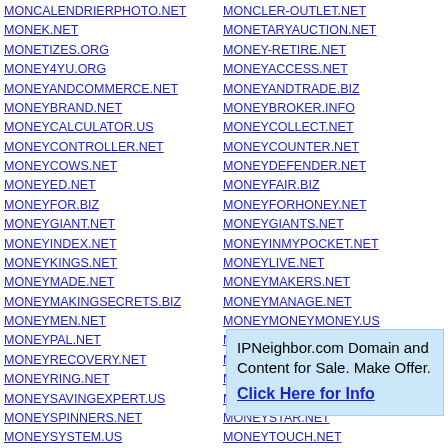MONCALENDRIERPHOTO.NET
MONEK.NET
MONETIZES.ORG
MONEY4YU.ORG
MONEYANDCOMMERCE.NET
MONEYBRAND.NET
MONEYCALCULATOR.US
MONEYCONTROLLER.NET
MONEYCOWS.NET
MONEYED.NET
MONEYFOR.BIZ
MONEYGIANT.NET
MONEYINDEX.NET
MONEYKINGS.NET
MONEYMADE.NET
MONEYMAKINGSECRETS.BIZ
MONEYMEN.NET
MONEYPAL.NET
MONEYRECOVERY.NET
MONEYRING.NET
MONEYSAVINGEXPERT.US
MONEYSPINNERS.NET
MONEYSYSTEM.US
MONEYTRANSACTION.NET
MONEYWAGER.NET
MONITORCOMPUTER.INFO
MONITORTRAFFIC.NET
MONMETIER.NET
MONCLER-OUTLET.NET
MONETARYAUCTION.NET
MONEY-RETIRE.NET
MONEYACCESS.NET
MONEYANDTRADE.BIZ
MONEYBROKER.INFO
MONEYCOLLECT.NET
MONEYCOUNTER.NET
MONEYDEFENDER.NET
MONEYFAIR.BIZ
MONEYFORHONEY.NET
MONEYGIANTS.NET
MONEYINMYPOCKET.NET
MONEYLIVE.NET
MONEYMAKERS.NET
MONEYMANAGE.NET
MONEYMONEYMONEY.US
MONEYPLACE.NET
MONEYREMITTANCE.ORG
MONEYS.ORG
MONEYSENDERS.NET
MONEYSTAR.NET
MONEYTOUCH.NET
IPNeighbor.com Domain and Content for Sale. Make Offer. Click Here for Info